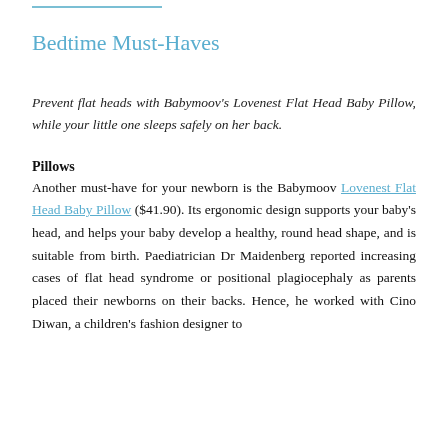Bedtime Must-Haves
Prevent flat heads with Babymoov's Lovenest Flat Head Baby Pillow, while your little one sleeps safely on her back.
Pillows
Another must-have for your newborn is the Babymoov Lovenest Flat Head Baby Pillow ($41.90). Its ergonomic design supports your baby's head, and helps your baby develop a healthy, round head shape, and is suitable from birth. Paediatrician Dr Maidenberg reported increasing cases of flat head syndrome or positional plagiocephaly as parents placed their newborns on their backs. Hence, he worked with Cino Diwan, a children's fashion designer to